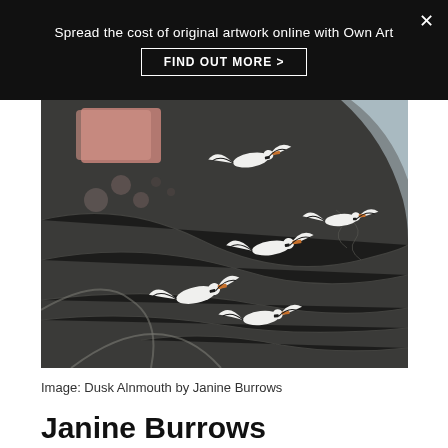Spread the cost of original artwork online with Own Art
FIND OUT MORE >
[Figure (photo): Painting of white birds with orange beaks flying over a dark landscape, viewed from above. There are abstract shapes in pinkish-red and grey at top left, and a light blue curved form at upper right. The background is dark grey-green textured paint.]
Image: Dusk Alnmouth by Janine Burrows
Janine Burrows